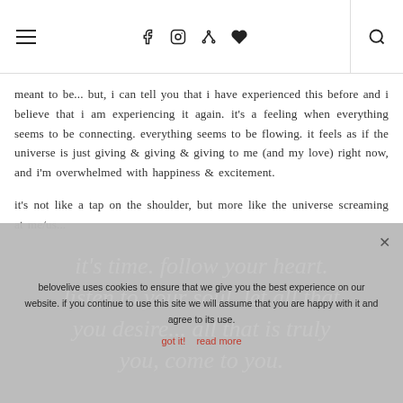☰  f  ⊕  𝒫  ♥  🔍
meant to be... but, i can tell you that i have experienced this before and i believe that i am experiencing it again. it's a feeling when everything seems to be connecting. everything seems to be flowing. it feels as if the universe is just giving & giving & giving to me (and my love) right now, and i'm overwhelmed with happiness & excitement.

it's not like a tap on the shoulder, but more like the universe screaming at me/us...
it's time. follow your heart. listen to your soul. let all that you desire... all that is truly you, come to you.
belovelive uses cookies to ensure that we give you the best experience on our website. if you continue to use this site we will assume that you are happy with it and agree to its use.
got it!  read more